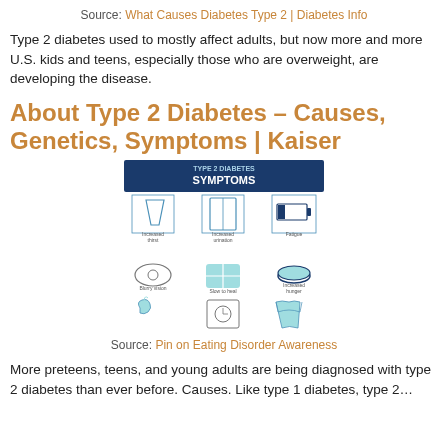Source: What Causes Diabetes Type 2 | Diabetes Info
Type 2 diabetes used to mostly affect adults, but now more and more U.S. kids and teens, especially those who are overweight, are developing the disease.
About Type 2 Diabetes – Causes, Genetics, Symptoms | Kaiser
[Figure (infographic): Type 2 Diabetes Symptoms infographic showing 9 symptoms with icons: Increased thirst, Increased urination, Fatigue, Blurry vision, Slow to heal, Increased hunger, and three more icons in the bottom row.]
Source: Pin on Eating Disorder Awareness
More preteens, teens, and young adults are being diagnosed with type 2 diabetes than ever before. Causes. Like type 1 diabetes, type 2...